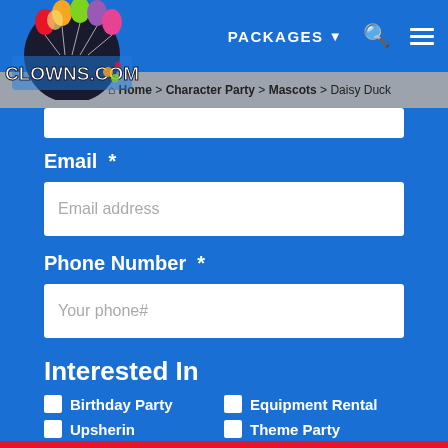PACKAGES  🏠 Home > Character Party > Mascots > Daisy Duck
[Figure (logo): Clowns.com logo with colorful balloons and circus imagery]
Email *
Email address (placeholder)
Phone Number *
Your phone# (placeholder)
Interested In
Birthday Party
Upsherin
Communion
Baptism
Equipment Rental
Theme Party
Photo Booth
Other